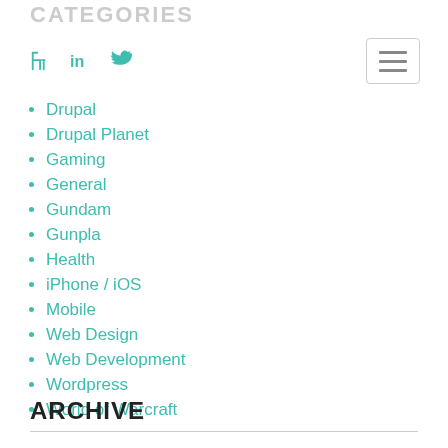CATEGORIES
Drupal
Drupal Planet
Gaming
General
Gundam
Gunpla
Health
iPhone / iOS
Mobile
Web Design
Web Development
Wordpress
World of Warcraft
ARCHIVE